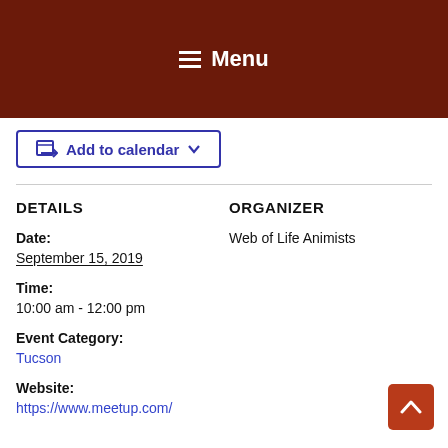Menu
Add to calendar
DETAILS
ORGANIZER
Date:
Web of Life Animists
September 15, 2019
Time:
10:00 am - 12:00 pm
Event Category:
Tucson
Website:
https://www.meetup.com/